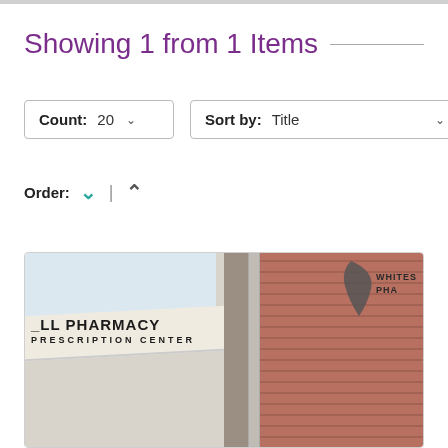Showing 1 from 1 Items
Count: 20  Sort by: Title
Order: ∨ ∧
[Figure (photo): Exterior photo of a pharmacy building showing signage reading 'PHARMACY PRESCRIPTION CENTER' on the left side and a 'Whites Pharmacy' logo on a brick building on the right side.]